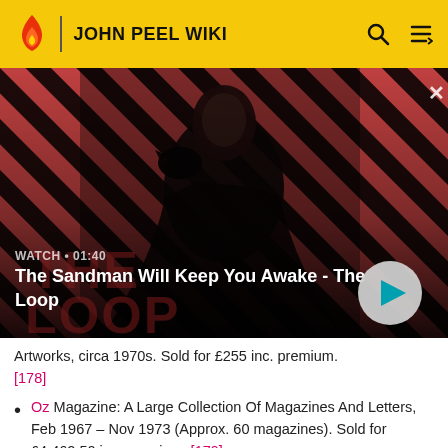JOHN PEEL WIKI
[Figure (screenshot): Video thumbnail for 'The Sandman Will Keep You Awake - The Loop'. Shows a dark-clad figure with a raven on their shoulder against a red and black diagonal striped background. Overlay shows WATCH • 01:40 and title text with a play button.]
Artworks, circa 1970s. Sold for £255 inc. premium. [178]
Oz Magazine: A Large Collection Of Magazines And Letters, Feb 1967 – Nov 1973 (Approx. 60 magazines). Sold for £4,462.50 inc. premium. [179]
Oz: An Obscenity Trial Vest Top, 1971. Sold for